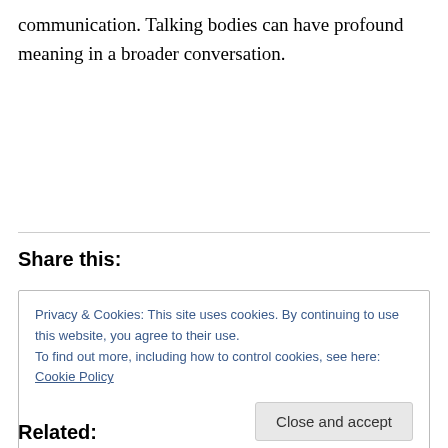communication. Talking bodies can have profound meaning in a broader conversation.
Share this:
Privacy & Cookies: This site uses cookies. By continuing to use this website, you agree to their use.
To find out more, including how to control cookies, see here: Cookie Policy
Related: